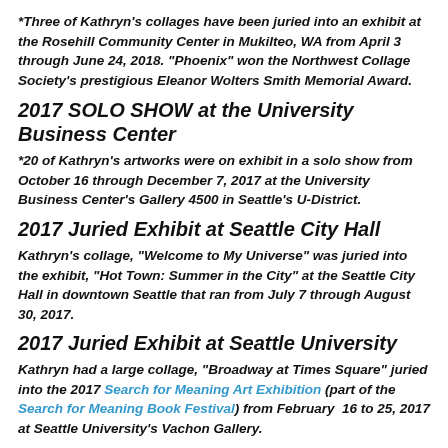*Three of Kathryn's collages have been juried into an exhibit at the Rosehill Community Center in Mukilteo, WA from April 3 through June 24, 2018. "Phoenix" won the Northwest Collage Society's prestigious Eleanor Wolters Smith Memorial Award.
2017 SOLO SHOW at the University Business Center
*20 of Kathryn's artworks were on exhibit in a solo show from October 16 through December 7, 2017 at the University Business Center's Gallery 4500 in Seattle's U-District.
2017 Juried Exhibit at Seattle City Hall
Kathryn's collage, "Welcome to My Universe" was juried into the exhibit, "Hot Town: Summer in the City" at the Seattle City Hall in downtown Seattle that ran from July 7 through August 30, 2017.
2017 Juried Exhibit at Seattle University
Kathryn had a large collage, "Broadway at Times Square" juried into the 2017 Search for Meaning Art Exhibition (part of the Search for Meaning Book Festival) from February  16 to 25, 2017 at Seattle University's Vachon Gallery.
2017 Juried Exhibit at Cascadia Art Museum